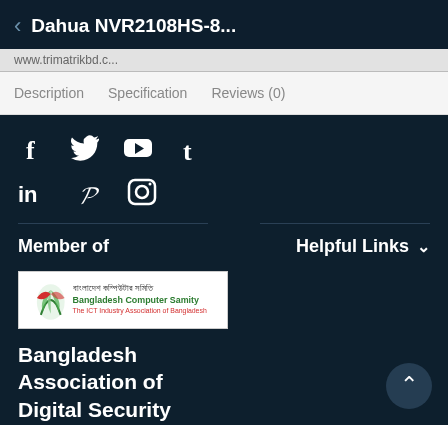Dahua NVR2108HS-8...
www.trimatrikbd.c...
Description   Specification   Reviews (0)
[Figure (other): Social media icons: Facebook, Twitter, YouTube, Tumblr, LinkedIn, Pinterest, Instagram]
Member of
Helpful Links
[Figure (logo): Bangladesh Computer Samity (BCS) logo - white background with BCS emblem and text in Bengali and English]
Bangladesh Association of Digital Security and Automation